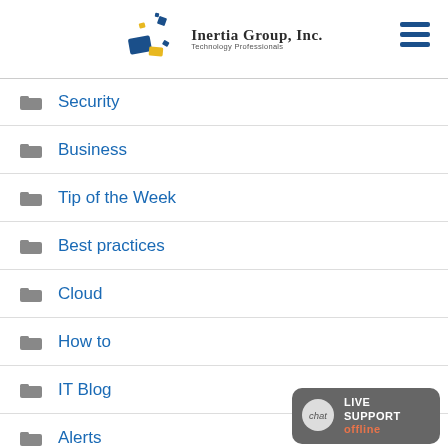Inertia Group, Inc. — Technology Professionals
Security
Business
Tip of the Week
Best practices
Cloud
How to
IT Blog
Alerts
Off Topic/Fun
[Figure (other): Live Support offline chat badge in bottom right corner]